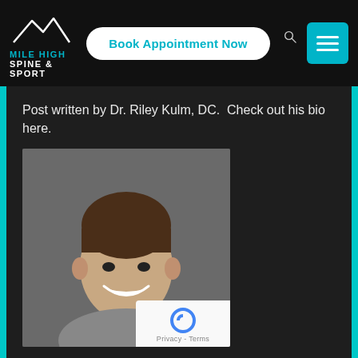[Figure (logo): Mile High Spine & Sport logo with mountain graphic and text]
Book Appointment Now
[Figure (illustration): Hamburger menu icon (three white lines on teal background)]
Post written by Dr. Riley Kulm, DC.  Check out his bio here.
[Figure (photo): Professional headshot of Dr. Riley Kulm, DC, smiling, wearing a grey polo shirt against a grey background]
[Figure (other): Google reCAPTCHA badge with stylized C logo and Privacy - Terms text]